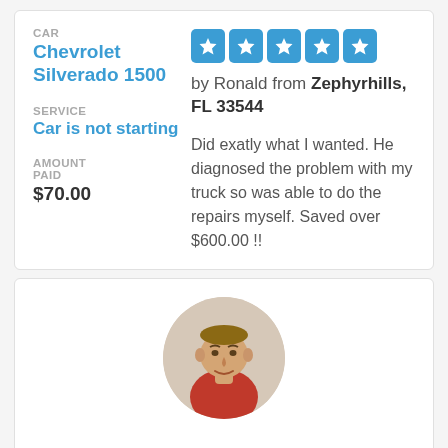CAR
Chevrolet Silverado 1500
SERVICE
Car is not starting
AMOUNT PAID
$70.00
[Figure (other): Five blue star rating boxes with white stars inside]
by Ronald from Zephyrhills, FL 33544
Did exatly what I wanted. He diagnosed the problem with my truck so was able to do the repairs myself. Saved over $600.00 !!
[Figure (photo): Circular profile photo of a middle-aged man in a red shirt]